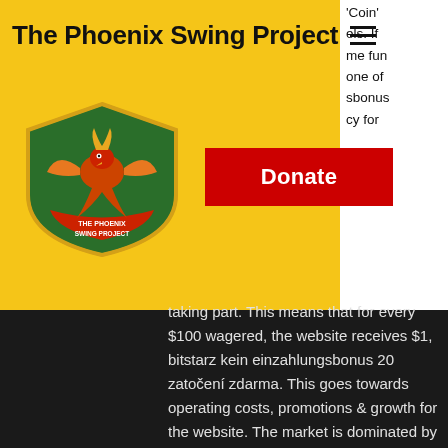The Phoenix Swing Project
[Figure (logo): The Phoenix Swing Project shield logo with phoenix bird in red and green colors]
Donate
'Coin' els. If me fun one of sbonus cy for taking part. This means that for every $100 wagered, the website receives $1, bitstarz kein einzahlungsbonus 20 zatočení zdarma. This goes towards operating costs, promotions & growth for the website. The market is dominated by few number of companies like Samsung, Apple, and Huawei, bitstarz kein einzahlungsbonus code australia. Much like monopolistic competitions, the products are similar but not identical. Simple programs run on these nodes, and they are usually written in a language called Solidity. Solidity is a bit like a subset of JavaScript or C#, bitstarz kein einzahlungsbonus 20 ücretsiz döndürme.